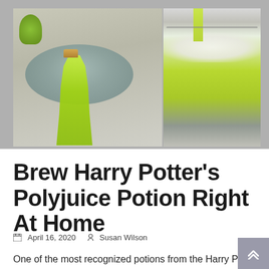[Figure (photo): Two-panel photo: left panel shows a conical glass bottle with bright green liquid (Polyjuice Potion) and a cork stopper, with a green cake stand in the background; right panel shows bright green liquid being poured into a wide coupe glass over white foam/dry ice effect.]
Brew Harry Potter's Polyjuice Potion Right At Home
April 16, 2020  Susan Wilson
One of the most recognized potions from the Harry Potte